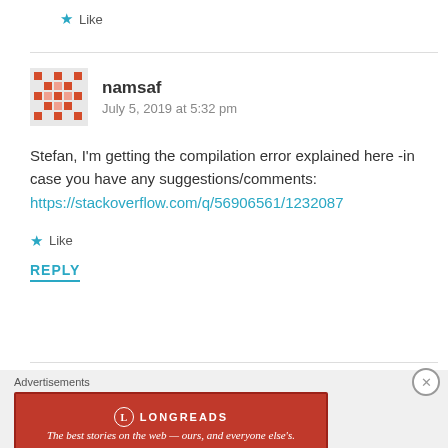★ Like
namsaf
July 5, 2019 at 5:32 pm
Stefan, I'm getting the compilation error explained here -in case you have any suggestions/comments: https://stackoverflow.com/q/56906561/1232087
★ Like
REPLY
[Figure (other): Longreads advertisement banner: red background with Longreads logo and tagline 'The best stories on the web — ours, and everyone else's.']